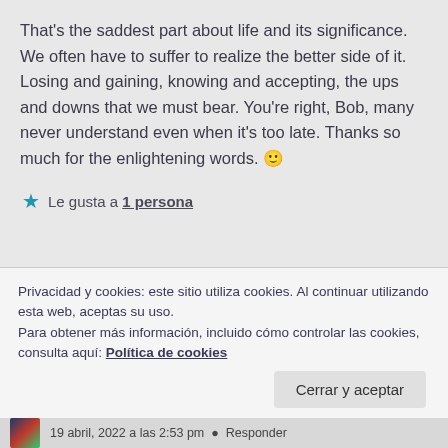That's the saddest part about life and its significance. We often have to suffer to realize the better side of it. Losing and gaining, knowing and accepting, the ups and downs that we must bear. You're right, Bob, many never understand even when it's too late. Thanks so much for the enlightening words. 🙂
★ Le gusta a 1 persona
Privacidad y cookies: este sitio utiliza cookies. Al continuar utilizando esta web, aceptas su uso.
Para obtener más información, incluido cómo controlar las cookies, consulta aquí: Política de cookies
Cerrar y aceptar
19 abril, 2022 a las 2:53 pm  •  Responder